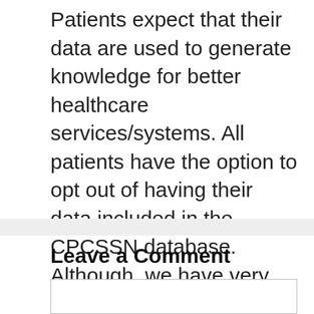Patients expect that their data are used to generate knowledge for better healthcare services/systems. All patients have the option to opt out of having their data included in the CPCSSN database. Although, we have very low numbers of opt outs across Canada. Patients who do wish to opt out can notify their primary care practitioner or a clinical staff member, who then must notify their regional CPCSSN network.
Leave a Comment